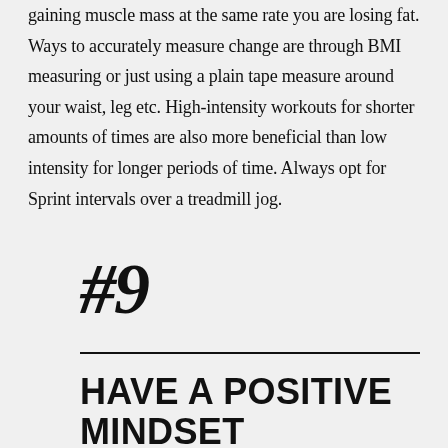gaining muscle mass at the same rate you are losing fat. Ways to accurately measure change are through BMI measuring or just using a plain tape measure around your waist, leg etc. High-intensity workouts for shorter amounts of times are also more beneficial than low intensity for longer periods of time. Always opt for Sprint intervals over a treadmill jog.
#9
HAVE A POSITIVE MINDSET